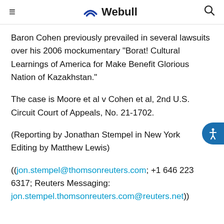≡  Webull  🔍
Baron Cohen previously prevailed in several lawsuits over his 2006 mockumentary "Borat! Cultural Learnings of America for Make Benefit Glorious Nation of Kazakhstan."
The case is Moore et al v Cohen et al, 2nd U.S. Circuit Court of Appeals, No. 21-1702.
(Reporting by Jonathan Stempel in New York
Editing by Matthew Lewis)
((jon.stempel@thomsonreuters.com; +1 646 223 6317; Reuters Messaging: jon.stempel.thomsonreuters.com@reuters.net))